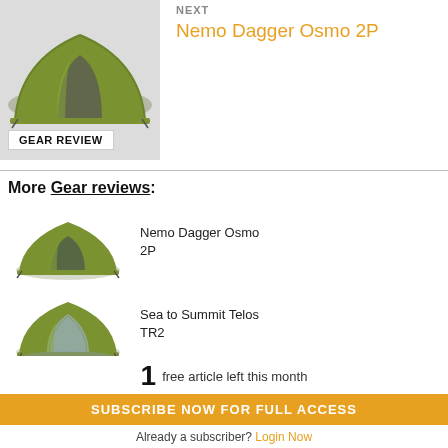[Figure (photo): Green dome tent with open door showing gray interior, top portion cut off, on light gray background]
NEXT
Nemo Dagger Osmo 2P
GEAR REVIEW
More Gear reviews:
[Figure (photo): Green dome tent (Nemo Dagger Osmo 2P) with open door showing gray interior]
Nemo Dagger Osmo 2P
[Figure (photo): Green dome tent (Sea to Summit Telos TR2) with open mesh door]
Sea to Summit Telos TR2
[Figure (photo): Person wearing dark tan/brown hooded rain jacket (The North Face Dryzzle FutureLight)]
The North Face Dryzzle FutureLight
1 free article left this month
SUBSCRIBE NOW FOR FULL ACCESS
Already a subscriber? Login Now